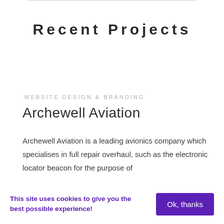Recent Projects
WEBSITE DESIGN & BRANDING
Archewell Aviation
Archewell Aviation is a leading avionics company which specialises in full repair overhaul, such as the electronic locator beacon for the purpose of
This site uses cookies to give you the best possible experience!
Ok, thanks